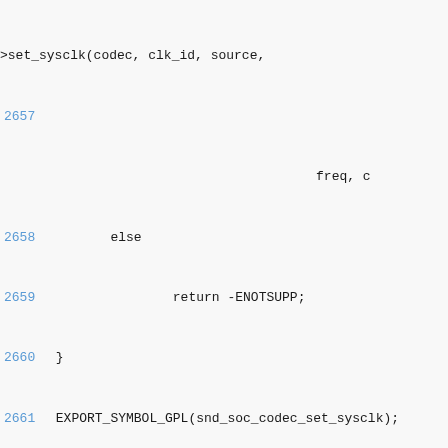>set_sysclk(codec, clk_id, source,
2657
                                                    freq, c
2658        else
2659                return -ENOTSUPP;
2660 }
2661 EXPORT_SYMBOL_GPL(snd_soc_codec_set_sysclk);
2662
2663 /**
2664
 * snd_soc_dai_set_clkdiv - configure DAI clock dividers
2665  * @dai: DAI
2666  * @div_id: DAI specific clock divider ID
2667  * @div: new clock divisor.
2668  *
2669
 * Configures the clock dividers. This is used to derive
2670
 * frame clocks from the system or master clock. It's be
2671
 * and frame clocks as low as possible to save system po
2672  */
2673
int snd_soc_dai_set_clkdiv(struct snd_soc_dai *dai,
2674        int div_id, int div)